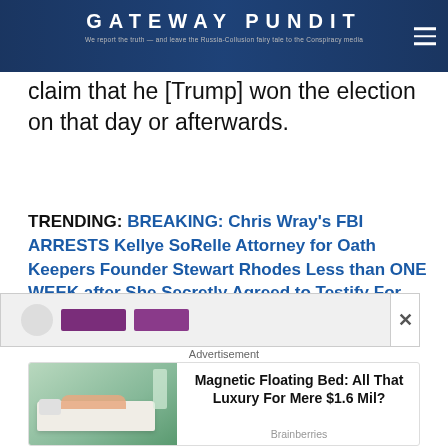GATEWAY PUNDIT — We report the truth — and leave the Russia-Collusion fairy tale to the Conspiracy media
claim that he [Trump] won the election on that day or afterwards.
TRENDING: BREAKING: Chris Wray's FBI ARRESTS Kellye SoRelle Attorney for Oath Keepers Founder Stewart Rhodes Less than ONE WEEK after She Secretly Agreed to Testify For Rhodes
[Figure (screenshot): Partially visible advertisement box with colorful bar elements]
Advertisement
[Figure (photo): Photo of a person lying on a floating bed in a modern room]
Magnetic Floating Bed: All That Luxury For Mere $1.6 Mil?
Brainberries